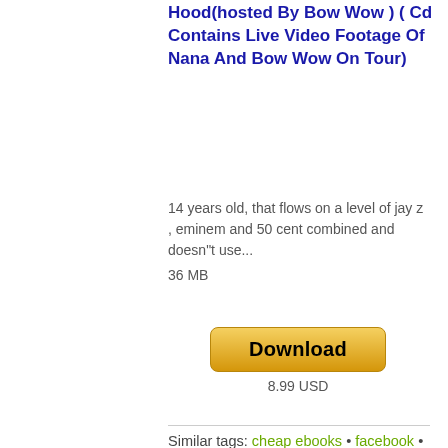Hood(hosted By Bow Wow ) ( Cd Contains Live Video Footage Of Nana And Bow Wow On Tour)
14 years old, that flows on a level of jay z , eminem and 50 cent combined and doesn"t use...
36 MB
Download
8.99 USD
Similar tags: cheap ebooks • facebook • facebook bullseye • graphics • internet marketing • live • master resale rights • mp3 album • private labels rights • promo • rock • script • software • theme • themes